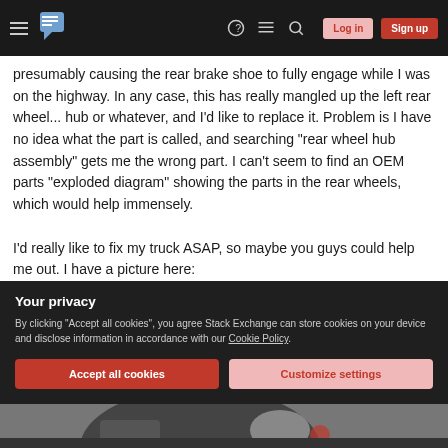Stack Exchange navigation bar with hamburger menu, logo, help, chat, search icons, Log in and Sign up buttons
presumably causing the rear brake shoe to fully engage while I was on the highway. In any case, this has really mangled up the left rear wheel... hub or whatever, and I'd like to replace it. Problem is I have no idea what the part is called, and searching "rear wheel hub assembly" gets me the wrong part. I can't seem to find an OEM parts "exploded diagram" showing the parts in the rear wheels, which would help immensely.

I'd really like to fix my truck ASAP, so maybe you guys could help me out. I have a picture here:
[Figure (photo): Partial view of a truck wheel/brake assembly photograph at the bottom of the page]
Your privacy
By clicking "Accept all cookies", you agree Stack Exchange can store cookies on your device and disclose information in accordance with our Cookie Policy.
Accept all cookies
Customize settings